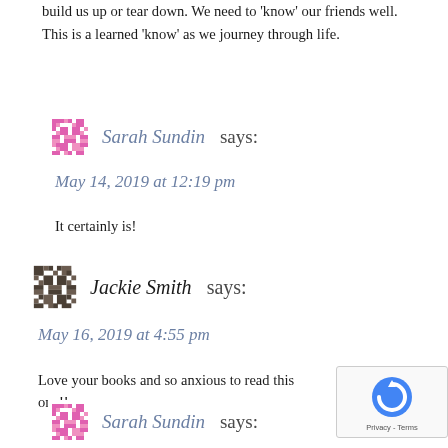build us up or tear down. We need to 'know' our friends well. This is a learned 'know' as we journey through life.
Sarah Sundin says:
May 14, 2019 at 12:19 pm
It certainly is!
Jackie Smith says:
May 16, 2019 at 4:55 pm
Love your books and so anxious to read this one!!
Sarah Sundin says: